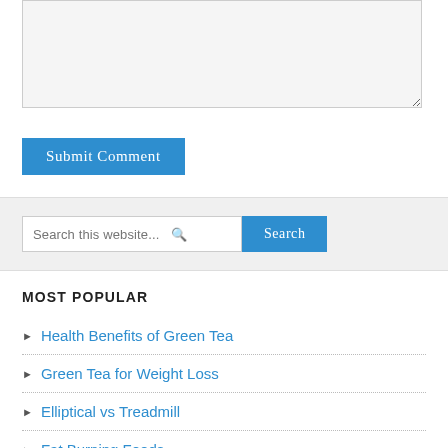[Figure (screenshot): A textarea input box with light gray background and resize handle in bottom-right corner]
Submit Comment
Search this website...
MOST POPULAR
Health Benefits of Green Tea
Green Tea for Weight Loss
Elliptical vs Treadmill
Fat Burning Foods